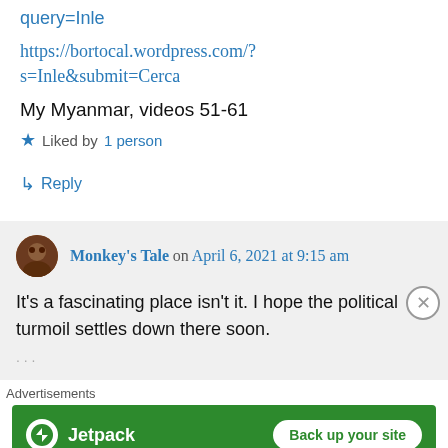query=Inle
https://bortocal.wordpress.com/?s=Inle&submit=Cerca
My Myanmar, videos 51-61
★ Liked by 1 person
↳ Reply
Monkey's Tale on April 6, 2021 at 9:15 am
It's a fascinating place isn't it. I hope the political turmoil settles down there soon. . . .
Advertisements
[Figure (other): Jetpack advertisement banner with 'Back up your site' button]